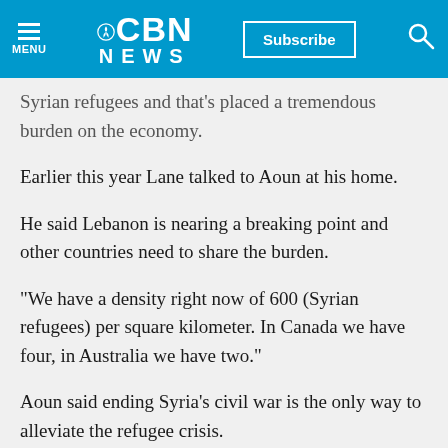CBN NEWS | Subscribe | Menu | Search
Syrian refugees and that's placed a tremendous burden on the economy.
Earlier this year Lane talked to Aoun at his home.
He said Lebanon is nearing a breaking point and other countries need to share the burden.
"We have a density right now of 600 (Syrian refugees) per square kilometer. In Canada we have four, in Australia we have two."
Aoun said ending Syria's civil war is the only way to alleviate the refugee crisis.